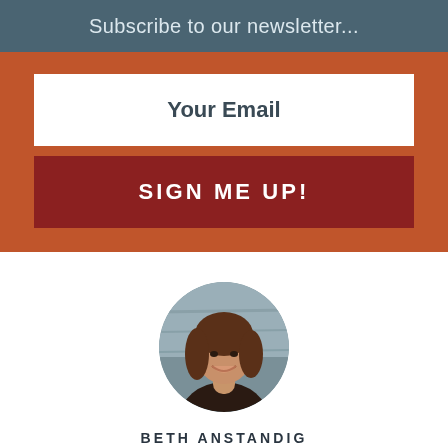Subscribe to our newsletter...
Your Email
SIGN ME UP!
[Figure (photo): Circular portrait photo of Beth Anstandig, a smiling woman with long brown hair wearing a dark top, photographed against a wooden background.]
BETH ANSTANDIG